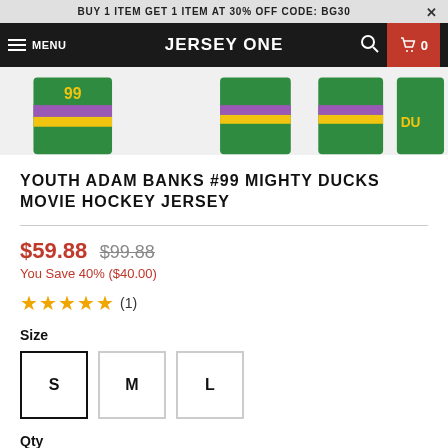BUY 1 ITEM GET 1 ITEM AT 30% OFF CODE: BG30
MENU   JERSEY ONE   🔍  🛒 0
[Figure (photo): Product image strip showing Mighty Ducks hockey jerseys (green with yellow and purple stripes)]
YOUTH ADAM BANKS #99 MIGHTY DUCKS MOVIE HOCKEY JERSEY
$59.88  $99.88
You Save 40% ($40.00)
★★★★★ (1)
Size
S  M  L
Qty